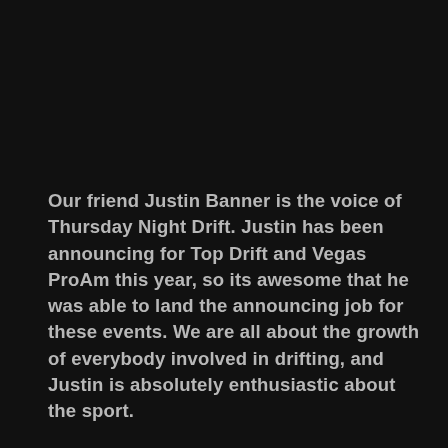Our friend Justin Banner is the voice of Thursday Night Drift. Justin has been announcing for Top Drift and Vegas ProAm this year, so its awesome that he was able to land the announcing job for these events. We are all about the growth of everybody involved in drifting, and Justin is absolutely enthusiastic about the sport.